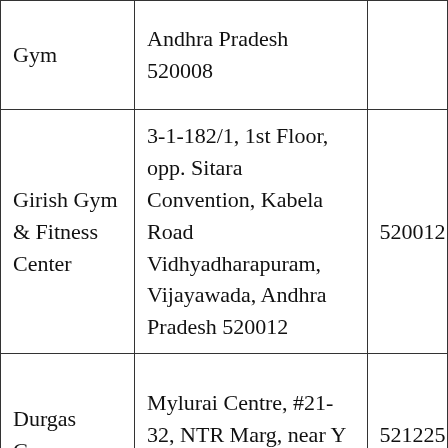| Name | Address | PIN |
| --- | --- | --- |
| Gym | Andhra Pradesh 520008 |  |
| Girish Gym & Fitness Center | 3-1-182/1, 1st Floor, opp. Sitara Convention, Kabela Road Vidhyadharapuram, Vijayawada, Andhra Pradesh 520012 | 520012 |
| Durgas Gym | Mylurai Centre, #21-32, NTR Marg, near Y Junction, Gollapudi | 521225 |